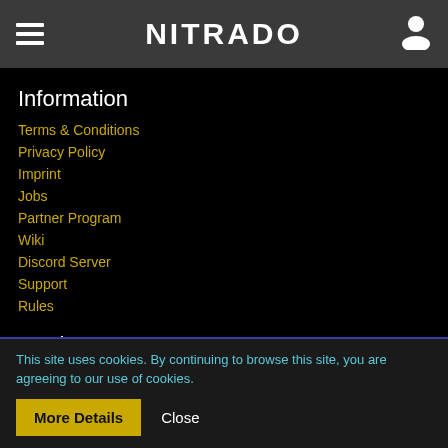NITRADO
Information
Terms & Conditions
Privacy Policy
Imprint
Jobs
Partner Program
Wiki
Discord Server
Support
Rules
Products
Game Server
Voice Server
This site uses cookies. By continuing to browse this site, you are agreeing to our use of cookies.